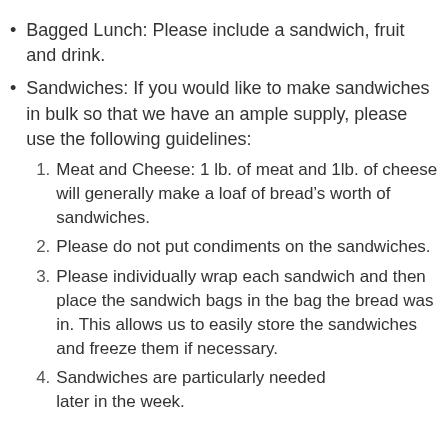Bagged Lunch: Please include a sandwich, fruit and drink.
Sandwiches: If you would like to make sandwiches in bulk so that we have an ample supply, please use the following guidelines:
1. Meat and Cheese: 1 lb. of meat and 1lb. of cheese will generally make a loaf of bread’s worth of sandwiches.
2. Please do not put condiments on the sandwiches.
3. Please individually wrap each sandwich and then place the sandwich bags in the bag the bread was in. This allows us to easily store the sandwiches and freeze them if necessary.
4. Sandwiches are particularly needed later in the week.